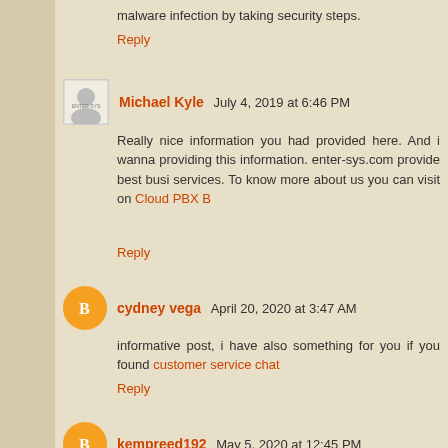malware infection by taking security steps.
Reply
Michael Kyle  July 4, 2019 at 6:46 PM
Really nice information you had provided here. And i wanna providing this information. enter-sys.com provide best busi services. To know more about us you can visit on Cloud PBX B
Reply
cydney vega  April 20, 2020 at 3:47 AM
informative post, i have also something for you if you found customer service chat
Reply
kempreed192  May 5, 2020 at 12:45 PM
this is a great website for my quickbooks and QuickBooks custo QuickBooks support phone number